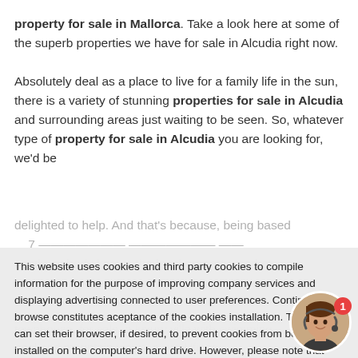property for sale in Mallorca. Take a look here at some of the superb properties we have for sale in Alcudia right now.

Absolutely deal as a place to live for a family life in the sun, there is a variety of stunning properties for sale in Alcudia and surrounding areas just waiting to be seen. So, whatever type of property for sale in Alcudia you are looking for, we'd be
delighted to help. And that's because, being based
This website uses cookies and third party cookies to compile information for the purpose of improving company services and displaying advertising connected to user preferences. Continuing to browse constitutes aceptance of the cookies installation. The user can set their browser, if desired, to prevent cookies from being installed on the computer's hard drive. However, please note that this may cause difficulties when browsing on the website
pool and mountain views, a rural 'finca